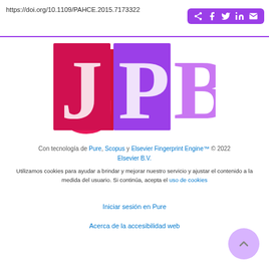https://doi.org/10.1109/PAHCE.2015.7173322
[Figure (logo): JPB logo with pink J, purple D, and purple B letters on colored square backgrounds]
Con tecnología de Pure, Scopus y Elsevier Fingerprint Engine™ © 2022 Elsevier B.V.
Utilizamos cookies para ayudar a brindar y mejorar nuestro servicio y ajustar el contenido a la medida del usuario. Si continúa, acepta el uso de cookies
Iniciar sesión en Pure
Acerca de la accesibilidad web